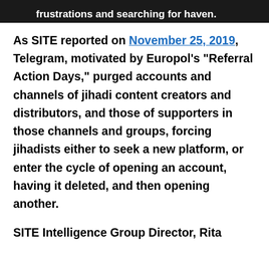frustrations and searching for haven.
As SITE reported on November 25, 2019, Telegram, motivated by Europol's "Referral Action Days," purged accounts and channels of jihadi content creators and distributors, and those of supporters in those channels and groups, forcing jihadists either to seek a new platform, or enter the cycle of opening an account, having it deleted, and then opening another.
SITE Intelligence Group Director, Rita